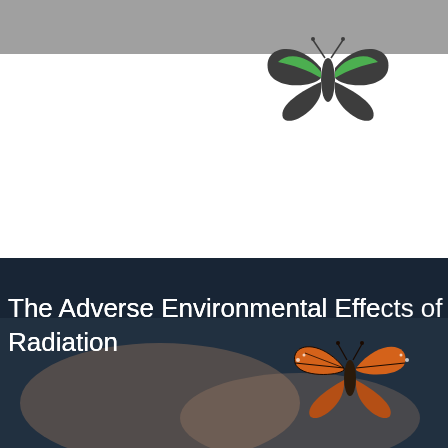[Figure (logo): Butterfly logo with green leaf wings on dark grey body, partially cut off at right edge, on grey header bar background]
[Figure (photo): Dark navy background with a photo of hands holding a monarch butterfly (orange and black), overlaid with white title text]
The Adverse Environmental Effects of Radiation